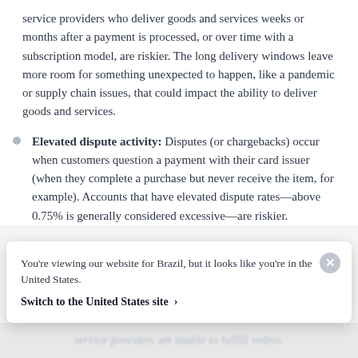service providers who deliver goods and services weeks or months after a payment is processed, or over time with a subscription model, are riskier. The long delivery windows leave more room for something unexpected to happen, like a pandemic or supply chain issues, that could impact the ability to deliver goods and services.
Elevated dispute activity: Disputes (or chargebacks) occur when customers question a payment with their card issuer (when they complete a purchase but never receive the item, for example). Accounts that have elevated dispute rates—above 0.75% is generally considered excessive—are riskier.
You're viewing our website for Brazil, but it looks like you're in the United States.
Switch to the United States site ›